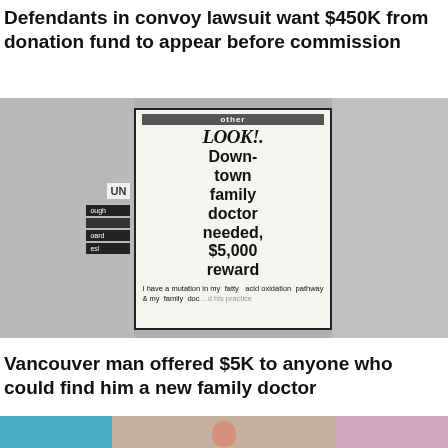Defendants in convoy lawsuit want $450K from donation fund to appear before commission
[Figure (photo): Newspaper classified ad clipping reading 'LOOK! Downtown family doctor needed, $5,000 reward. I have a mutation in my fatty acid oxidation pathway & my family doc ...' against a blurred grey background]
Vancouver man offered $5K to anyone who could find him a new family doctor
[Figure (photo): Partial photo of a bald man outdoors, with blurred colourful background]